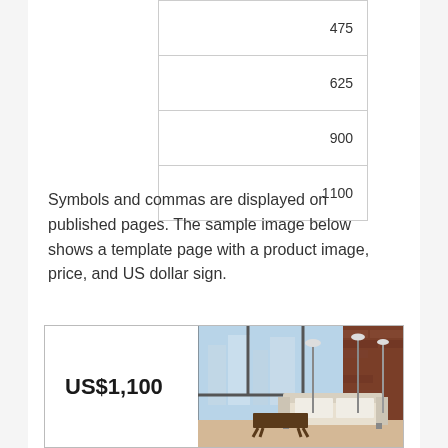| 475 |
| 625 |
| 900 |
| 1100 |
Symbols and commas are displayed on published pages. The sample image below shows a template page with a product image, price, and US dollar sign.
[Figure (screenshot): Sample template page showing a room interior photo on the right and the price label 'US$1,100' on the left]